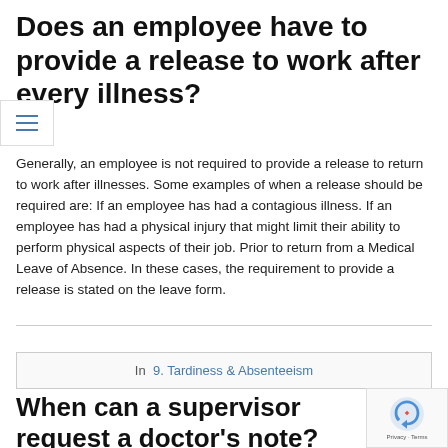Does an employee have to provide a release to work after every illness?
Generally, an employee is not required to provide a release to return to work after illnesses. Some examples of when a release should be required are: If an employee has had a contagious illness. If an employee has had a physical injury that might limit their ability to perform physical aspects of their job. Prior to return from a Medical Leave of Absence. In these cases, the requirement to provide a release is stated on the leave form.
In  9. Tardiness & Absenteeism
When can a supervisor request a doctor's note?